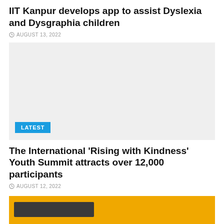IIT Kanpur develops app to assist Dyslexia and Dysgraphia children
AUGUST 13, 2022
[Figure (photo): Light gray placeholder image with a blue LATEST badge at the bottom left]
The International ‘Rising with Kindness’ Youth Summit attracts over 12,000 participants
AUGUST 12, 2022
[Figure (photo): Yellow/orange image partially visible at the bottom of the page]